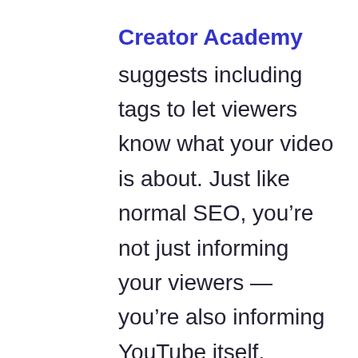Creator Academy
suggests including tags to let viewers know what your video is about. Just like normal SEO, you’re not just informing your viewers — you’re also informing YouTube itself.
Don’t use irrelevant tags because you